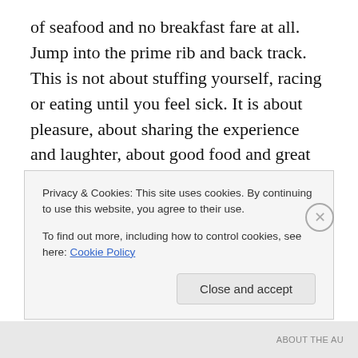of seafood and no breakfast fare at all.  Jump into the prime rib and back track. This is not about stuffing yourself, racing or eating until you feel sick. It is about pleasure, about sharing the experience and laughter, about good food and great beverages and being thoughtful how you go about it. This is about strategy and choosing the best of life in the moment, and not about over indulging from the fear of this being gone soon. Know that thoughtful choices, a little prep work and reconnaissance of what are your options will help you navigate. Not using a detailed topographic map, not a
Privacy & Cookies: This site uses cookies. By continuing to use this website, you agree to their use.
To find out more, including how to control cookies, see here: Cookie Policy
Close and accept
ABOUT THE AU